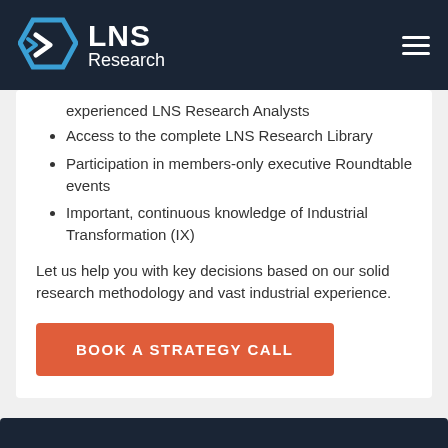LNS Research
experienced LNS Research Analysts
Access to the complete LNS Research Library
Participation in members-only executive Roundtable events
Important, continuous knowledge of Industrial Transformation (IX)
Let us help you with key decisions based on our solid research methodology and vast industrial experience.
BOOK A STRATEGY CALL